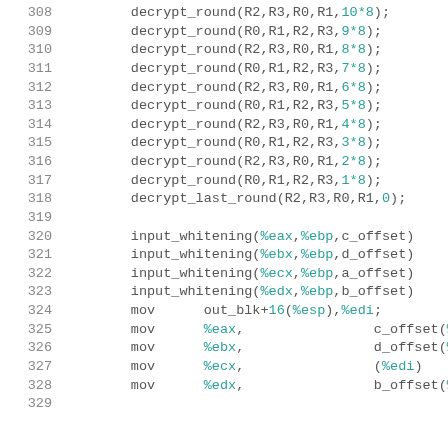308  decrypt_round(R2,R3,R0,R1,10*8);
309  decrypt_round(R0,R1,R2,R3,9*8);
310  decrypt_round(R2,R3,R0,R1,8*8);
311  decrypt_round(R0,R1,R2,R3,7*8);
312  decrypt_round(R2,R3,R0,R1,6*8);
313  decrypt_round(R0,R1,R2,R3,5*8);
314  decrypt_round(R2,R3,R0,R1,4*8);
315  decrypt_round(R0,R1,R2,R3,3*8);
316  decrypt_round(R2,R3,R0,R1,2*8);
317  decrypt_round(R0,R1,R2,R3,1*8);
318  decrypt_last_round(R2,R3,R0,R1,0);
319
320  input_whitening(%eax,%ebp,c_offset)
321  input_whitening(%ebx,%ebp,d_offset)
322  input_whitening(%ecx,%ebp,a_offset)
323  input_whitening(%edx,%ebp,b_offset)
324  mov      out_blk+16(%esp),%edi;
325  mov      %eax,                c_offset(%edi)
326  mov      %ebx,                d_offset(%edi)
327  mov      %ecx,                (%edi)
328  mov      %edx,                b_offset(%edi)
329